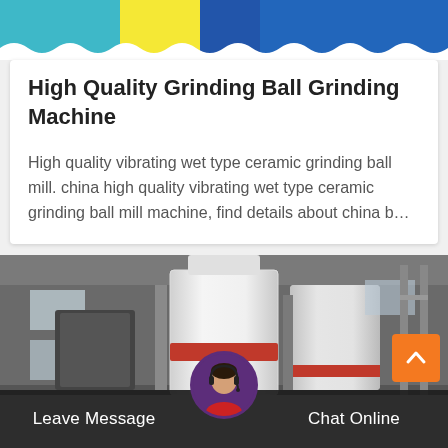[Figure (photo): Top banner photo showing industrial machinery — colorful conveyor or sorting equipment, partially visible, with scalloped/wavy white border at bottom]
High Quality Grinding Ball Grinding Machine
High quality vibrating wet type ceramic grinding ball mill. china high quality vibrating wet type ceramic grinding ball mill machine, find details about china b…
[Figure (photo): Industrial factory interior showing a large white cylindrical grinding mill machine with red accent band, surrounded by other industrial equipment and machinery in a warehouse setting]
Leave Message
Chat Online